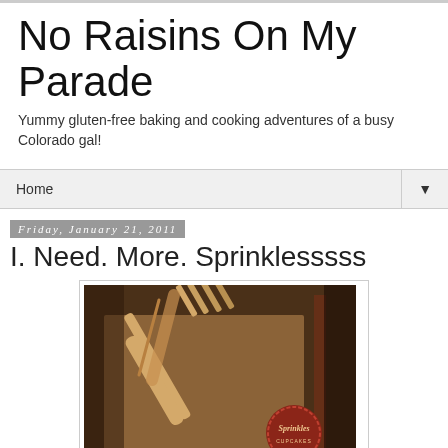No Raisins On My Parade
Yummy gluten-free baking and cooking adventures of a busy Colorado gal!
Home
Friday, January 21, 2011
I. Need. More. Sprinklesssss
[Figure (photo): A Sprinkles Cupcakes branded brown kraft paper box with a wooden fork resting on top, photographed in sepia/warm tones. The box has the Sprinkles cupcakes red circular logo stamp visible on the lower right.]